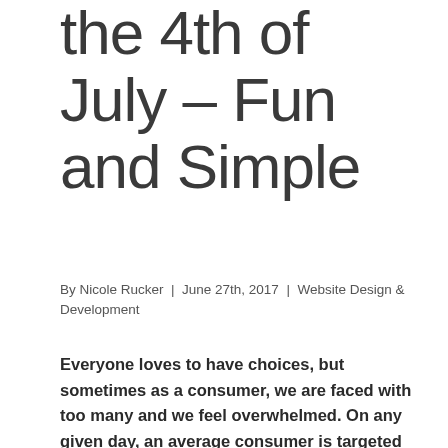the 4th of July – Fun and Simple
By Nicole Rucker  |  June 27th, 2017  |  Website Design & Development
Everyone loves to have choices, but sometimes as a consumer, we are faced with too many and we feel overwhelmed. On any given day, an average consumer is targeted by countless advertisements and pitches vying for their attention and dollars. For example, when you walk into a firework shop, it can be extremely overwhelming when the walls